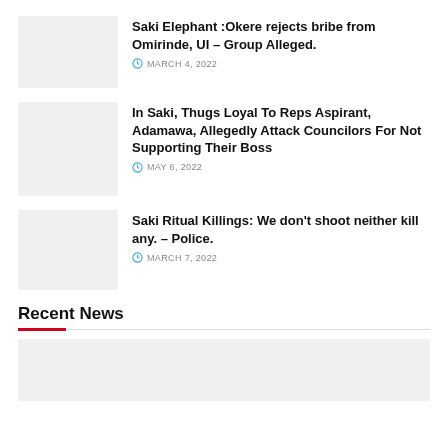[Figure (photo): Thumbnail image placeholder (gray box) for first news article]
Saki Elephant :Okere rejects bribe from Omirinde, UI – Group Alleged.
MARCH 4, 2022
[Figure (photo): Thumbnail image placeholder (gray box) for second news article]
In Saki, Thugs Loyal To Reps Aspirant, Adamawa, Allegedly Attack Councilors For Not Supporting Their Boss
MAY 6, 2022
[Figure (photo): Thumbnail image placeholder (gray box) for third news article]
Saki Ritual Killings: We don't shoot neither kill any. – Police.
MARCH 7, 2022
Recent News
[Figure (photo): Large thumbnail image placeholder (gray box) for Recent News section]